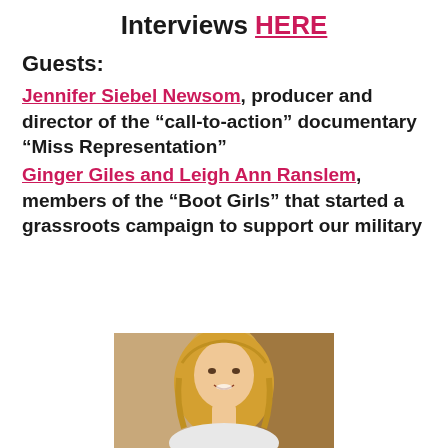Interviews HERE
Guests:
Jennifer Siebel Newsom, producer and director of the “call-to-action” documentary “Miss Representation”
Ginger Giles and Leigh Ann Ranslem, members of the “Boot Girls” that started a grassroots campaign to support our military
[Figure (photo): Photo of a blonde woman smiling, cropped at lower portion of page]